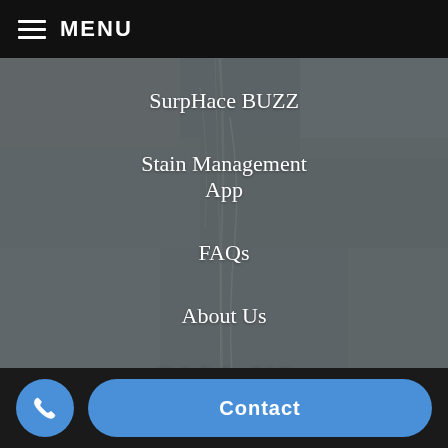MENU
SurpHace BUZZ
Stain Management App
FAQs
About Us
CALL US
Contact